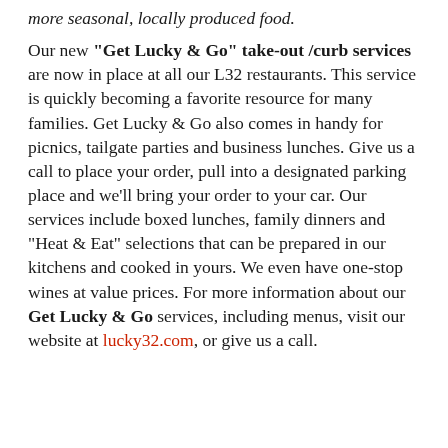more seasonal, locally produced food.
Our new "Get Lucky & Go" take-out/curb services are now in place at all our L32 restaurants. This service is quickly becoming a favorite resource for many families. Get Lucky & Go also comes in handy for picnics, tailgate parties and business lunches. Give us a call to place your order, pull into a designated parking place and we'll bring your order to your car. Our services include boxed lunches, family dinners and "Heat & Eat" selections that can be prepared in our kitchens and cooked in yours. We even have one-stop wines at value prices. For more information about our Get Lucky & Go services, including menus, visit our website at lucky32.com, or give us a call.